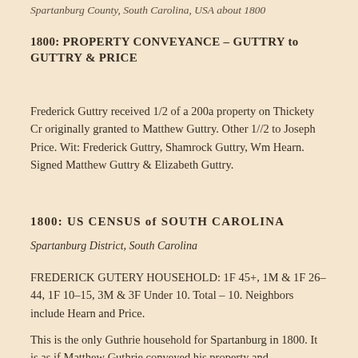Spartanburg County, South Carolina, USA about 1800
1800: PROPERTY CONVEYANCE – GUTTRY to GUTTRY & PRICE
Frederick Guttry received 1/2 of a 200a property on Thickety Cr originally granted to Matthew Guttry. Other 1//2 to Joseph Price. Wit: Frederick Guttry, Shamrock Guttry, Wm Hearn. Signed Matthew Guttry & Elizabeth Guttry.
1800: US CENSUS of SOUTH CAROLINA
Spartanburg District, South Carolina
FREDERICK GUTERY HOUSEHOLD: 1F 45+, 1M & 1F 26-44, 1F 10-15, 3M & 3F Under 10. Total – 10. Neighbors include Hearn and Price.
This is the only Guthrie household for Spartanburg in 1800. It is as if Matthew Guthrie conveyed his property and immediately left the area, suggesting that he never actually had...